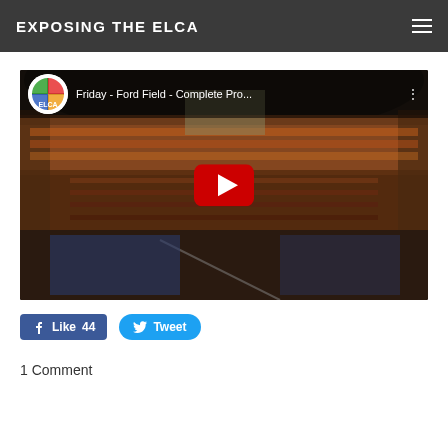EXPOSING THE ELCA
[Figure (screenshot): YouTube video thumbnail showing a large crowd inside Ford Field stadium. Video title reads 'Friday - Ford Field - Complete Pro...' with ELCA logo. Red YouTube play button in center.]
Like 44
Tweet
1 Comment